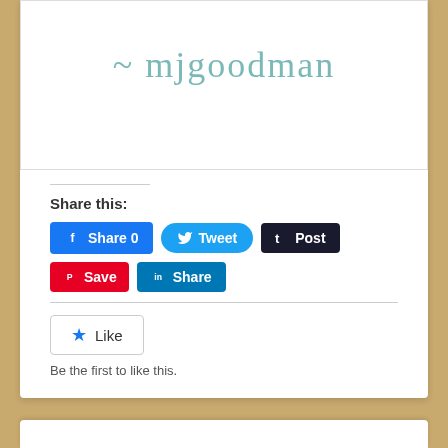[Figure (illustration): Handwritten-style signature text reading '~ mjgoodman' in teal/seafoam cursive on white background inside a bordered box]
Share this:
[Figure (screenshot): Social share buttons row 1: Facebook Share 0 (blue), Tweet (blue rounded), Post/Tumblr (dark navy)]
[Figure (screenshot): Social share buttons row 2: Pinterest Save (red), LinkedIn Share (teal-blue)]
[Figure (screenshot): Like button widget with blue star icon and 'Like' text inside a bordered box]
Be the first to like this.